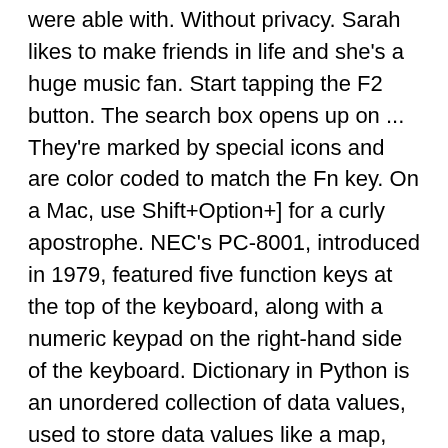were able with. Without privacy. Sarah likes to make friends in life and she's a huge music fan. Start tapping the F2 button. The search box opens up on ... They're marked by special icons and are color coded to match the Fn key. On a Mac, use Shift+Option+] for a curly apostrophe. NEC's PC-8001, introduced in 1979, featured five function keys at the top of the keyboard, along with a numeric keypad on the right-hand side of the keyboard. Dictionary in Python is an unordered collection of data values, used to store data values like a map, which unlike other Data Types that hold only single value as an element, Dictionary holds key : value pair.. keys() method in Python Dictionary, returns a view object that displays a list of all the keys in the dictionary. In Windows Explorer, F4 takes the focus or cursor to address bar. Do a Thesaurus check in Microsoft Word by pressing Shift + F7. MODIFIER KEYS Many keys on the keyboard function differently based on context. Blog If you're like most people, every now and then you look at all of the